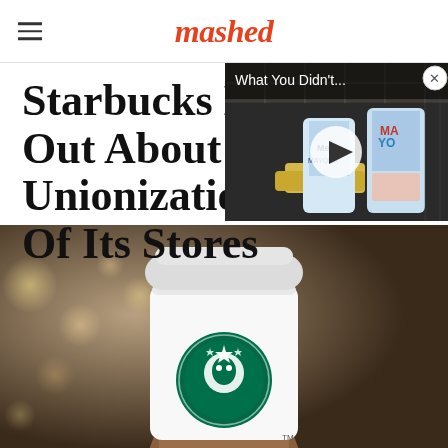mashed
[Figure (screenshot): Video thumbnail overlay showing mayo jars in a shopping cart with text 'What You Didn't...' and a play button]
Starbucks Has Been Very Vocal Out About The Unionization Of Its Stores
[Figure (photo): Close-up photo of a hand holding a white Starbucks cup with the green Starbucks logo against a bokeh background of city lights]